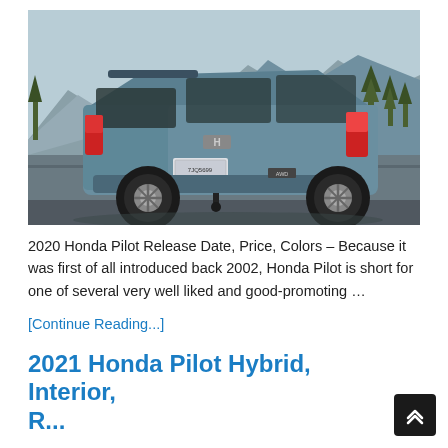[Figure (photo): Rear three-quarter view of a blue/teal Honda Pilot SUV parked on a road with mountains and pine trees in the background under a clear sky.]
2020 Honda Pilot Release Date, Price, Colors – Because it was first of all introduced back 2002, Honda Pilot is short for one of several very well liked and good-promoting …
[Continue Reading...]
2021 Honda Pilot Hybrid, Interior, R...